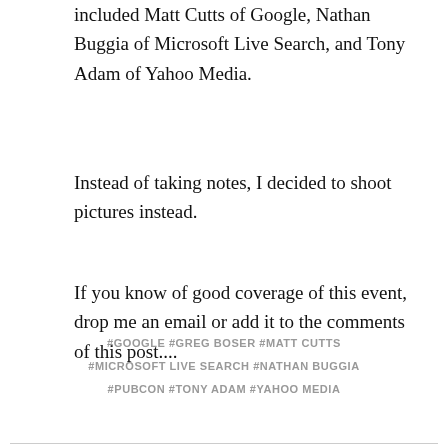included Matt Cutts of Google, Nathan Buggia of Microsoft Live Search, and Tony Adam of Yahoo Media.
Instead of taking notes, I decided to shoot pictures instead.
If you know of good coverage of this event, drop me an email or add it to the comments of this post....
#GOOGLE  #GREG BOSER  #MATT CUTTS  #MICROSOFT LIVE SEARCH  #NATHAN BUGGIA  #PUBCON  #TONY ADAM  #YAHOO MEDIA